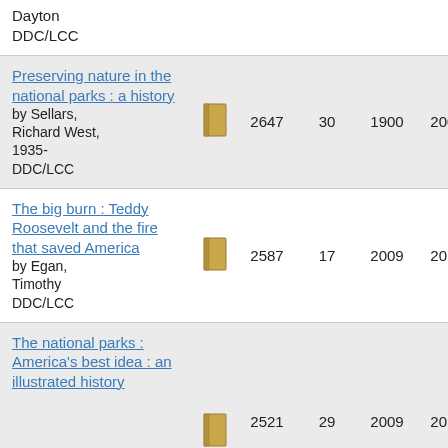Dayton
DDC/LCC
Preserving nature in the national parks : a history
by Sellars, Richard West, 1935-
DDC/LCC
2647  30  1900  2009
The big burn : Teddy Roosevelt and the fire that saved America
by Egan, Timothy
DDC/LCC
2587  17  2009  2014
The national parks : America's best idea : an illustrated history
2521  29  2009  2016